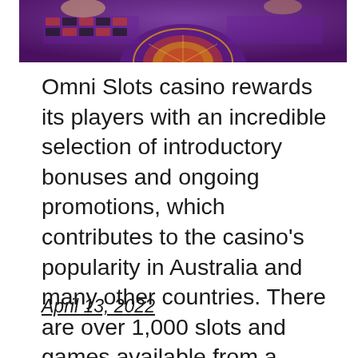[Figure (photo): Partial view of a roulette table with purple felt and colorful roulette wheel, hands visible]
Omni Slots casino rewards its players with an incredible selection of introductory bonuses and ongoing promotions, which contributes to the casino's popularity in Australia and many other countries. There are over 1,000 slots and games available from a variety of leading software companies, and committed players have the opportunity to become an Omni Slots VIP. […]
April 13, 2022